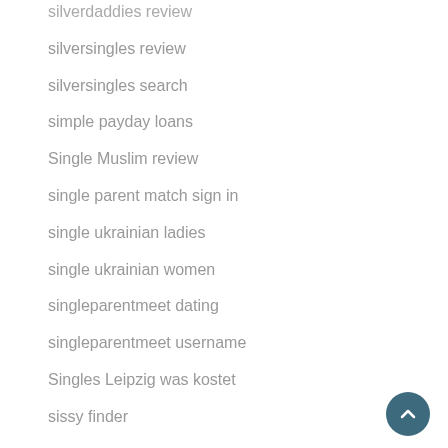silverdaddies review
silversingles review
silversingles search
simple payday loans
Single Muslim review
single parent match sign in
single ukrainian ladies
single ukrainian women
singleparentmeet dating
singleparentmeet username
Singles Leipzig was kostet
sissy finder